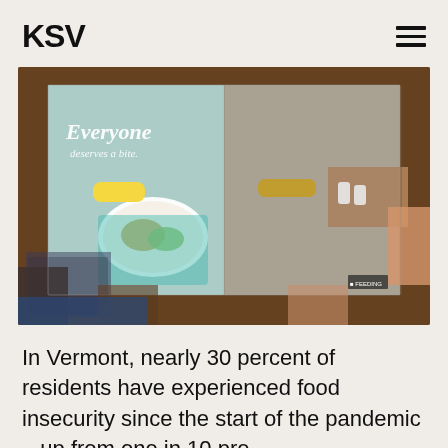KSV
[Figure (photo): A person holding open a large newspaper spread showing a food advertisement with the text 'Everyone deserves a bite.' featuring two people sharing corn on the cob over a plate of food on a teal placemat.]
In Vermont, nearly 30 percent of residents have experienced food insecurity since the start of the pandemic – up from one in 10 pre-